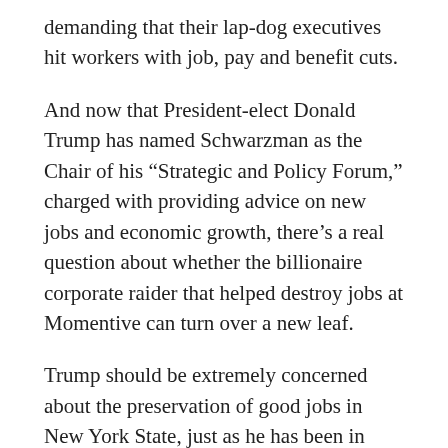demanding that their lap-dog executives hit workers with job, pay and benefit cuts.
And now that President-elect Donald Trump has named Schwarzman as the Chair of his “Strategic and Policy Forum,” charged with providing advice on new jobs and economic growth, there’s a real question about whether the billionaire corporate raider that helped destroy jobs at Momentive can turn over a new leaf.
Trump should be extremely concerned about the preservation of good jobs in New York State, just as he has been in Indiana and Michigan.
But hurting workers and outsourcing jobs seems